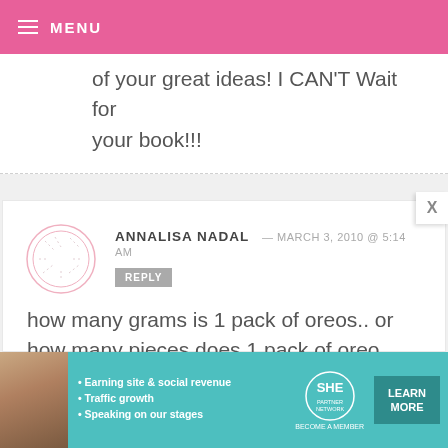MENU
of your great ideas! I CAN'T Wait for your book!!!
ANNALISA NADAL — MARCH 3, 2010 @ 5:14 AM
REPLY
how many grams is 1 pack of oreos.. or how many pieces does 1 pack of oreo contain?
thank u..?:)
[Figure (infographic): SHE Partner Network advertisement banner with woman photo, bullet points about earning site & social revenue, traffic growth, speaking on stages, SHE logo, and LEARN MORE button]
[Figure (other): Circular avatar placeholder with dashed circular border pattern]